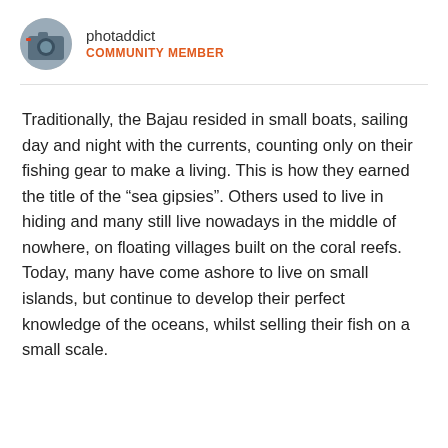[Figure (photo): Circular avatar image of user photaddict showing a person with camera equipment]
photaddict
COMMUNITY MEMBER
Traditionally, the Bajau resided in small boats, sailing day and night with the currents, counting only on their fishing gear to make a living. This is how they earned the title of the “sea gipsies”. Others used to live in hiding and many still live nowadays in the middle of nowhere, on floating villages built on the coral reefs. Today, many have come ashore to live on small islands, but continue to develop their perfect knowledge of the oceans, whilst selling their fish on a small scale.